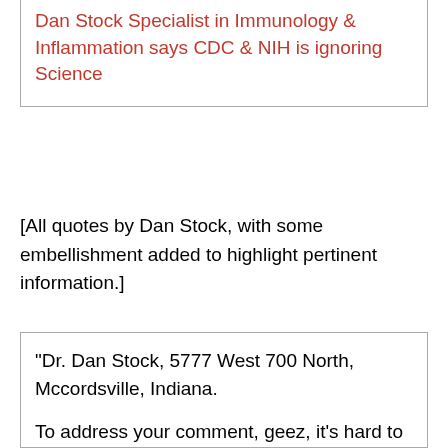Dan Stock Specialist in Immunology & Inflammation says CDC & NIH is ignoring Science
[All quotes by Dan Stock, with some embellishment added to highlight pertinent information.]
“Dr. Dan Stock, 5777 West 700 North, Mccordsville, Indiana.

To address your comment, geez, it’s hard to believe we’re 18 months into this and still having a problem, and I would suggest the reason we still have a problem is because we’re doing things